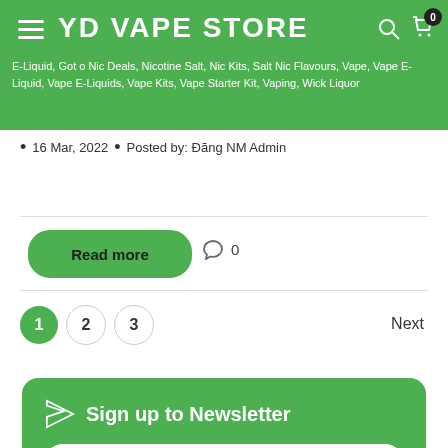YD VAPE STORE — E-Liquid, Got o Nic Deals, Nicotine Salt, Nic Kits, Salt Nic Flavours, Vape, Vape E-Liquid, Vape E-Liquids, Vape Kits, Vape Starter Kit, Vaping, Wick Liquor
16 Mar, 2022  •  Posted by: Đăng NM Admin
Read more   ○ 0
1  2  3  Next
Sign up to Newsletter
Enter your email address